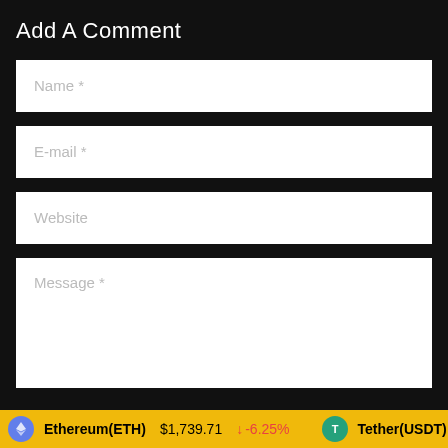Add A Comment
Name *
E-mail *
Website
Message *
Ethereum(ETH) $1,739.71 ↓ -6.25%   Tether(USDT) $1.00